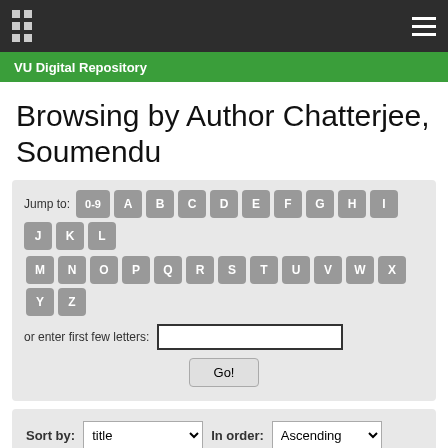VU Digital Repository
Browsing by Author Chatterjee, Soumendu
Jump to: 0-9 A B C D E F G H I J K L M N O P Q R S T U V W X Y Z or enter first few letters: [input] Go!
Sort by: title  In order: Ascending  Results/Page 20  Authors/Record: All  Update